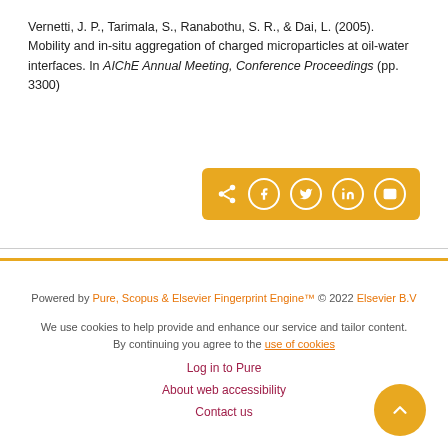Vernetti, J. P., Tarimala, S., Ranabothu, S. R., & Dai, L. (2005). Mobility and in-situ aggregation of charged microparticles at oil-water interfaces. In AIChE Annual Meeting, Conference Proceedings (pp. 3300)
[Figure (other): Share bar with social media icons: share, Facebook, Twitter, LinkedIn, email on a golden/amber background]
Powered by Pure, Scopus & Elsevier Fingerprint Engine™ © 2022 Elsevier B.V
We use cookies to help provide and enhance our service and tailor content. By continuing you agree to the use of cookies
Log in to Pure
About web accessibility
Contact us